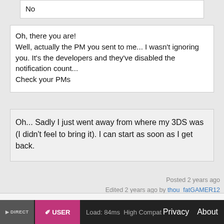No
Oh, there you are!
Well, actually the PM you sent to me... I wasn't ignoring you. It's the developers and they've disabled the notification count... Check your PMs
Oh... Sadly I just went away from where my 3DS was (I didn't feel to bring it). I can start as soon as I get back.
Posted 2 years ago
Edited 2 years ago by thou_fatGAMER12
1 2 3 4 5 6
DIRECT  USER  Load: 84ms  High Compat  Privacy  About